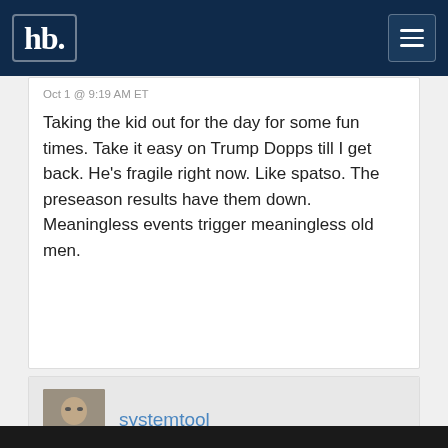hb. [logo] [menu button]
Oct 1 @ 9:19 AM ET
Taking the kid out for the day for some fun times. Take it easy on Trump Dopps till I get back. He's fragile right now. Like spatso. The preseason results have them down. Meaningless events trigger meaningless old men.
systemtool
Oct 1 @ 9:20 AM ET
Thankfully for the sens there's no chance of that happening, unless karlsson does indeed make a miraculous recovery and plays game one.
- burn